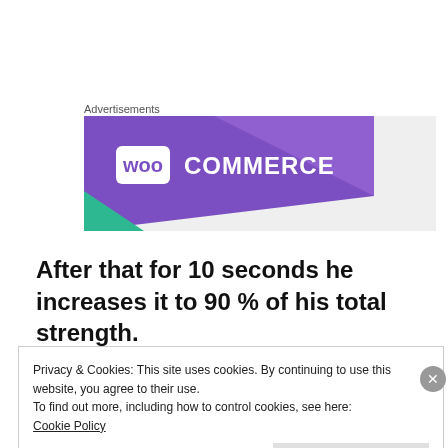Advertisements
[Figure (logo): WooCommerce advertisement banner with purple diagonal shape and WooCommerce logo on light gray background]
After that for 10 seconds he increases it to 90 % of his total strength.
Privacy & Cookies: This site uses cookies. By continuing to use this website, you agree to their use.
To find out more, including how to control cookies, see here:
Cookie Policy

Close and accept